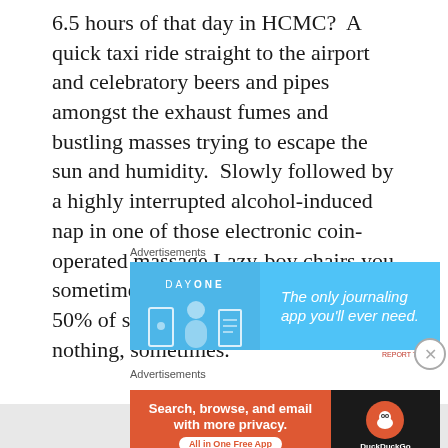6.5 hours of that day in HCMC?  A quick taxi ride straight to the airport and celebratory beers and pipes amongst the exhaust fumes and bustling masses trying to escape the sun and humidity.  Slowly followed by a highly interrupted alcohol-induced nap in one of those electronic coin-operated massage Lazy-boy chairs you sometimes find in malls and airports.  50% of something is better than nothing, sometimes.
[Figure (other): Day One journaling app advertisement banner with light blue background, showing icons and the text 'The only journaling app you'll ever need.']
[Figure (other): DuckDuckGo advertisement banner with orange left section reading 'Search, browse, and email with more privacy. All in One Free App' and dark right section with DuckDuckGo logo.]